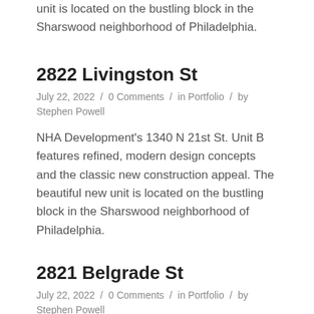unit is located on the bustling block in the Sharswood neighborhood of Philadelphia.
2822 Livingston St
July 22, 2022  /  0 Comments  /  in Portfolio  /  by Stephen Powell
NHA Development's 1340 N 21st St. Unit B features refined, modern design concepts and the classic new construction appeal. The beautiful new unit is located on the bustling block in the Sharswood neighborhood of Philadelphia.
2821 Belgrade St
July 22, 2022  /  0 Comments  /  in Portfolio  /  by Stephen Powell
NHA Development's 1340 N 21st St. Unit B